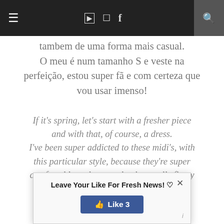≡  [youtube] [instagram] f  🔍
tambem de uma forma mais casual. O meu é num tamanho S e veste na perfeição, estou super fã e com certeza que vou usar imenso!
If it's spring, let's start with a fresher piece and with that, of course, a dress. I've been super addicted to these midi's, with this particular style, because they're super comfortable and, as a rule, they really fit my body shape very well. In addition, this one is super versatile, because it has the elegant touch of the textured fabri... younger and so we can als... a more casual way.
[Figure (other): Facebook popup overlay with 'Leave Your Like For Fresh News! ♡' text, a blue Like button showing '👍 Like 3', a close (×) button, and an info (i) icon.]